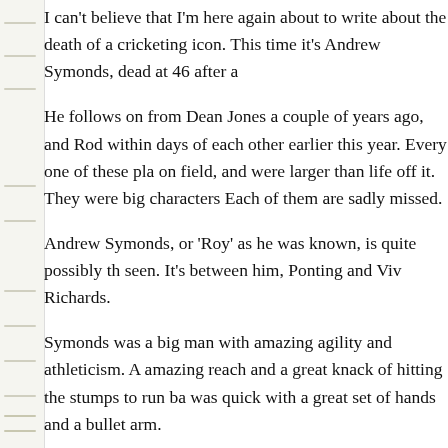I can't believe that I'm here again about to write about the death of a cricketing icon. This time it's Andrew Symonds, dead at 46 after a
He follows on from Dean Jones a couple of years ago, and Rod within days of each other earlier this year. Every one of these players was a big performer on field, and were larger than life off it. They were big characters who lit up the game. Each of them are sadly missed.
Andrew Symonds, or 'Roy' as he was known, is quite possibly the best fielder I've seen. It's between him, Ponting and Viv Richards.
Symonds was a big man with amazing agility and athleticism. A man with amazing reach and a great knack of hitting the stumps to run batsmen out. He was quick with a great set of hands and a bullet arm.
That's his great claim to fame, but he was a more than handy bat. He was devastating on his day and one of the biggest hitters you could find. He was best in the limited overs fixtures which suited his all-round skills - and he was a clever bowler. At his best, an absolute match winner. He played in World Cup victories in 2003 and 2007.
Many commentators and just about all his teammates have said what a great team man he was. I think most of us in the outer could sense that too. With zinc cream and the big smile he was a favourite of many. He was